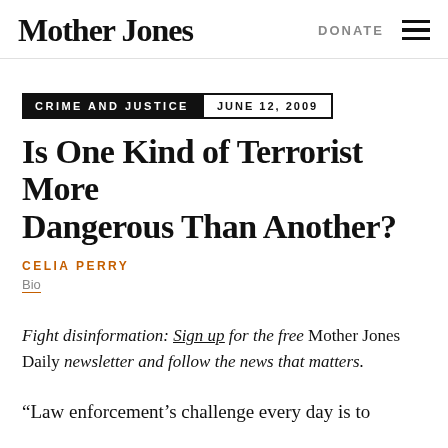Mother Jones   DONATE
CRIME AND JUSTICE   JUNE 12, 2009
Is One Kind of Terrorist More Dangerous Than Another?
CELIA PERRY
Bio
Fight disinformation: Sign up for the free Mother Jones Daily newsletter and follow the news that matters.
“Law enforcement’s challenge every day is to